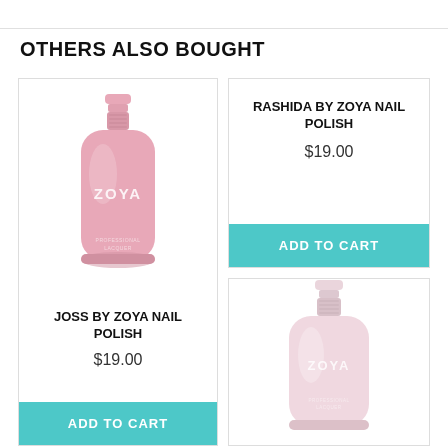OTHERS ALSO BOUGHT
[Figure (photo): Pink Zoya nail polish bottle - Joss product]
JOSS BY ZOYA NAIL POLISH
$19.00
ADD TO CART
RASHIDA BY ZOYA NAIL POLISH
$19.00
ADD TO CART
[Figure (photo): Light pink Zoya nail polish bottle - second product]